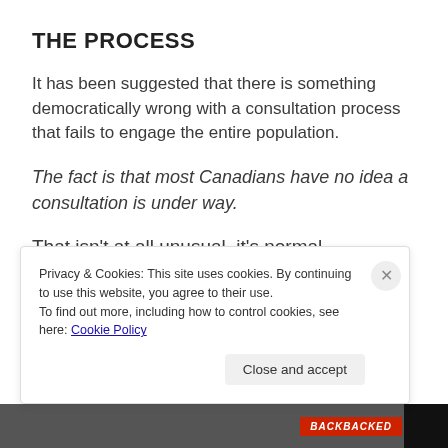THE PROCESS
It has been suggested that there is something democratically wrong with a consultation process that fails to engage the entire population.
The fact is that most Canadians have no idea a consultation is under way.
That isn’t at all unusual, it’s normal.
Privacy & Cookies: This site uses cookies. By continuing to use this website, you agree to their use.
To find out more, including how to control cookies, see here: Cookie Policy
Close and accept